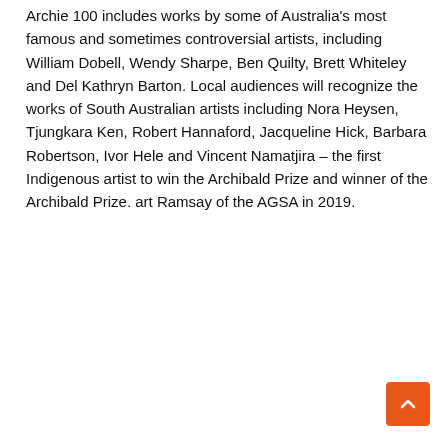Archie 100 includes works by some of Australia's most famous and sometimes controversial artists, including William Dobell, Wendy Sharpe, Ben Quilty, Brett Whiteley and Del Kathryn Barton. Local audiences will recognize the works of South Australian artists including Nora Heysen, Tjungkara Ken, Robert Hannaford, Jacqueline Hick, Barbara Robertson, Ivor Hele and Vincent Namatjira – the first Indigenous artist to win the Archibald Prize and winner of the Archibald Prize. art Ramsay of the AGSA in 2019.